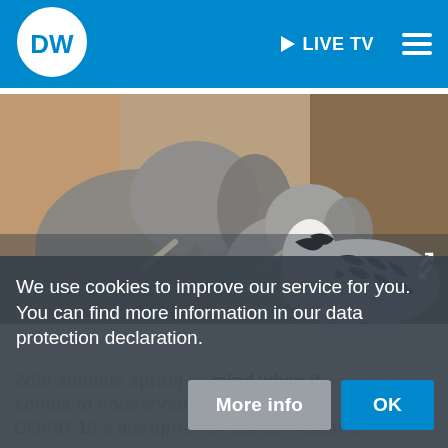[Figure (logo): DW (Deutsche Welle) logo — white circle with 'DW' text inside, on blue header background]
[Figure (photo): Photograph of elephants and a zebra together in an African savanna setting with trees in background]
We use cookies to improve our service for you. You can find more information in our data protection declaration.
Wild animals spring to mind when it comes to conservation but a COVID-19's disruption of conservation is
More info
OK